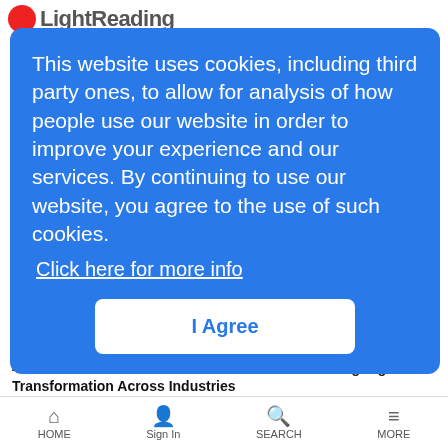LightReading
This website uses cookies, including third party ones, to allow for analysis of how people use our website in order to improve your experience and our services. By continuing to use our website, you agree to the use of such cookies. Click here for more info
I Agree
September 6, 2022
4.9G and 5G Private Wireless Networks Accelerating Digital Transformation Across Industries
September 7, 2022
400G Transmission: Where and How to deploy it?
September 7, 2022
HOME   Sign In   SEARCH   MORE